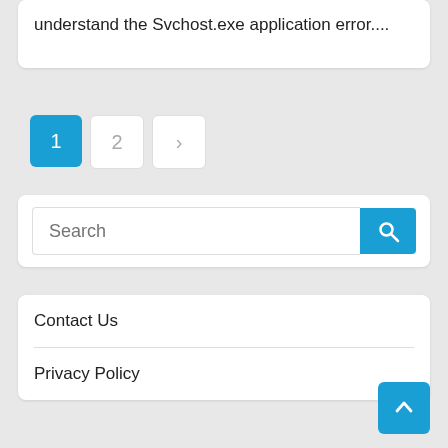understand the Svchost.exe application error....
1
2
>
Search
Contact Us
Privacy Policy